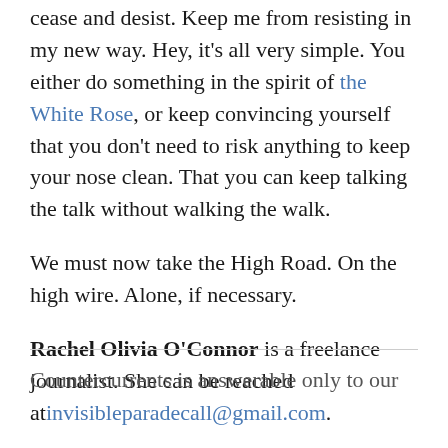cease and desist. Keep me from resisting in my new way. Hey, it's all very simple. You either do something in the spirit of the White Rose, or keep convincing yourself that you don't need to risk anything to keep your nose clean. That you can keep talking the talk without walking the walk.
We must now take the High Road. On the high wire. Alone, if necessary.
Rachel Olivia O'Connor is a freelance journalist. She can be reached at invisibleparadecall@gmail.com.
Countercurrents is answerable only to our